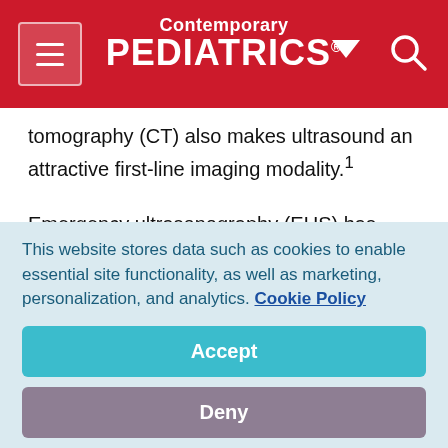Contemporary PEDIATRICS
tomography (CT) also makes ultrasound an attractive first-line imaging modality.¹
Emergency ultrasonography (EUS) has found its way into the pediatric ED largely because of the influence of our adult emergency medicine colleagues. The American College of Emergency Physicians (ACEP) has had an established policy statement on ultrasound in the ED since 2001 (updated in
This website stores data such as cookies to enable essential site functionality, as well as marketing, personalization, and analytics. Cookie Policy
Accept
Deny